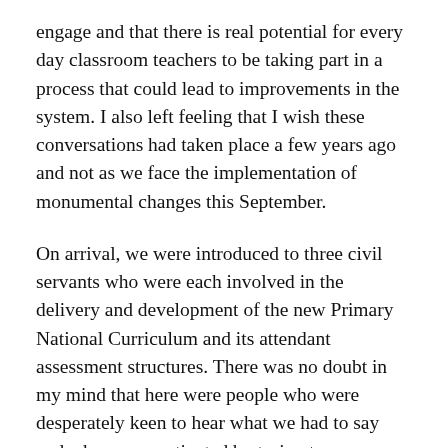engage and that there is real potential for every day classroom teachers to be taking part in a process that could lead to improvements in the system. I also left feeling that I wish these conversations had taken place a few years ago and not as we face the implementation of monumental changes this September.
On arrival, we were introduced to three civil servants who were each involved in the delivery and development of the new Primary National Curriculum and its attendant assessment structures. There was no doubt in my mind that here were people who were desperately keen to hear what we had to say and who were motivated by trying to ensure that children received a broad, balanced and engaging educational diet. Again, how I wish I had met them three years ago. The meeting began with the statement that the purpose